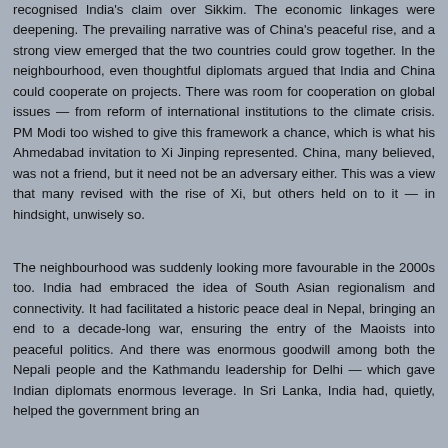recognised India's claim over Sikkim. The economic linkages were deepening. The prevailing narrative was of China's peaceful rise, and a strong view emerged that the two countries could grow together. In the neighbourhood, even thoughtful diplomats argued that India and China could cooperate on projects. There was room for cooperation on global issues — from reform of international institutions to the climate crisis. PM Modi too wished to give this framework a chance, which is what his Ahmedabad invitation to Xi Jinping represented. China, many believed, was not a friend, but it need not be an adversary either. This was a view that many revised with the rise of Xi, but others held on to it — in hindsight, unwisely so.
The neighbourhood was suddenly looking more favourable in the 2000s too. India had embraced the idea of South Asian regionalism and connectivity. It had facilitated a historic peace deal in Nepal, bringing an end to a decade-long war, ensuring the entry of the Maoists into peaceful politics. And there was enormous goodwill among both the Nepali people and the Kathmandu leadership for Delhi — which gave Indian diplomats enormous leverage. In Sri Lanka, India had, quietly, helped the government bring an